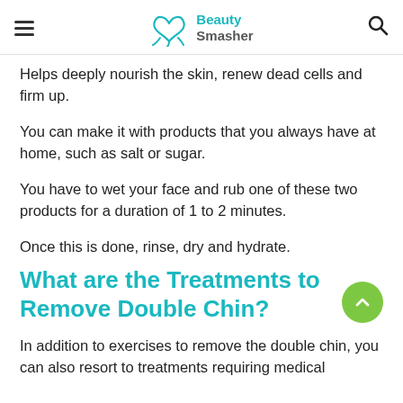Beauty Smasher
Helps deeply nourish the skin, renew dead cells and firm up.
You can make it with products that you always have at home, such as salt or sugar.
You have to wet your face and rub one of these two products for a duration of 1 to 2 minutes.
Once this is done, rinse, dry and hydrate.
What are the Treatments to Remove Double Chin?
In addition to exercises to remove the double chin, you can also resort to treatments requiring medical